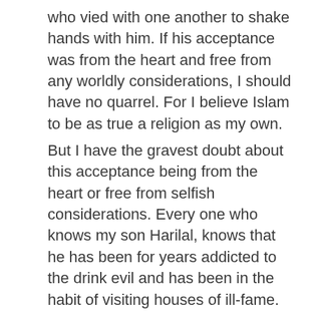who vied with one another to shake hands with him. If his acceptance was from the heart and free from any worldly considerations, I should have no quarrel. For I believe Islam to be as true a religion as my own.
But I have the gravest doubt about this acceptance being from the heart or free from selfish considerations. Every one who knows my son Harilal, knows that he has been for years addicted to the drink evil and has been in the habit of visiting houses of ill-fame. After some years he has been living on the charity of friends who have helped him unstintingly. He is indebted to some Pathan's from whom he had borrowed on heavy interest. Up to only